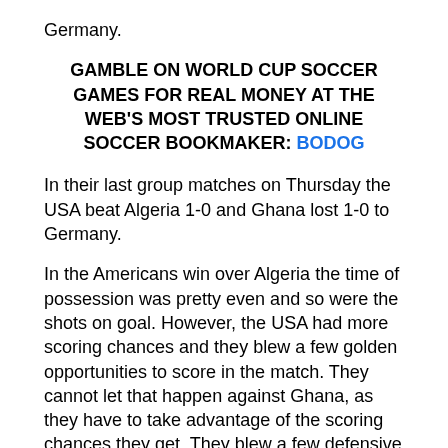Germany.
GAMBLE ON WORLD CUP SOCCER GAMES FOR REAL MONEY AT THE WEB'S MOST TRUSTED ONLINE SOCCER BOOKMAKER: BODOG
In their last group matches on Thursday the USA beat Algeria 1-0 and Ghana lost 1-0 to Germany.
In the Americans win over Algeria the time of possession was pretty even and so were the shots on goal. However, the USA had more scoring chances and they blew a few golden opportunities to score in the match. They cannot let that happen against Ghana, as they have to take advantage of the scoring chances they get. They blew a few defensive assignments, yet again, and if the Americans do that against Ghana it may cost them.
Ghana did lose their last group match to Germany, but the time of possession was pretty even and they took more shots than the Germans (17 to 13). They had a few chances to score, but their lack of a world-class striker hurt them and may do again in this match. They played defensively the